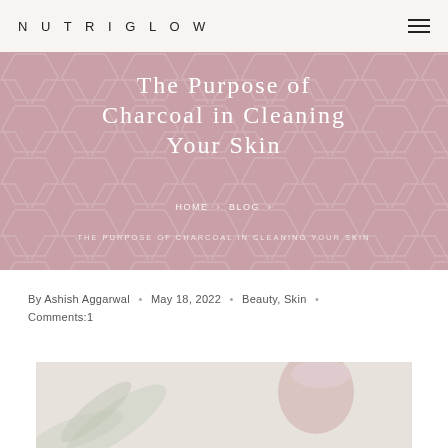NUTRIGLOW
The Purpose of Charcoal in Cleaning Your Skin
HOME › BLOG ›
THE PURPOSE OF CHARCOAL IN CLEANING YOUR SKIN
By Ashish Aggarwal • May 18, 2022 • Beauty, Skin • Comments:1
[Figure (photo): Woman with light pink towel wrap on head, white background with palm leaf decoration visible]